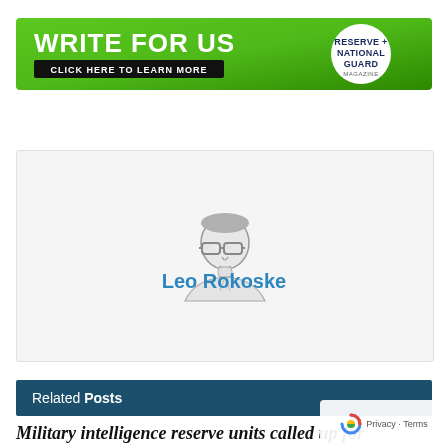[Figure (illustration): Advertisement banner with green gradient background. Left side: 'WRITE FOR US' in large white bold text, below it a dark button 'CLICK HERE TO LEARN MORE'. Right side: circular white logo with 'RESERVE + NATIONAL GUARD' text in dark blue, with 'MAGAZINE' below in small text.]
[Figure (illustration): Author avatar placeholder: line-art illustration of a person wearing glasses, gray tones, inside a light gray card.]
Leo Rokoske
Related Posts
Military intelligence reserve units called up for Berlin crisis